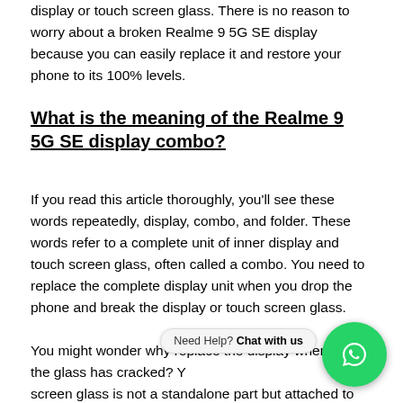display or touch screen glass. There is no reason to worry about a broken Realme 9 5G SE display because you can easily replace it and restore your phone to its 100% levels.
What is the meaning of the Realme 9 5G SE display combo?
If you read this article thoroughly, you'll see these words repeatedly, display, combo, and folder. These words refer to a complete unit of inner display and touch screen glass, often called a combo. You need to replace the complete display unit when you drop the phone and break the display or touch screen glass.
You might wonder why replace the display when only the glass has cracked? Y  t  screen glass is not a standalone part but attached to